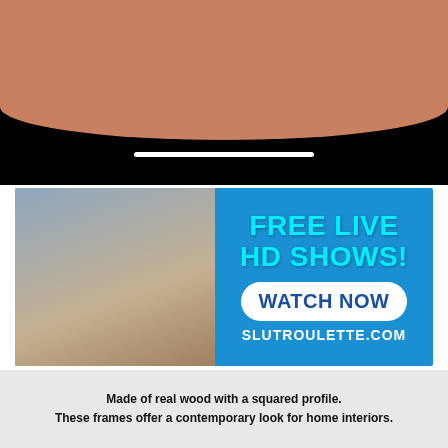[Figure (photo): Close-up photo showing skin tones on dark background with a white rounded bar at the bottom]
[Figure (infographic): Advertisement banner for slutroulette.com with a woman in pink lingerie on the left and text 'FREE LIVE HD SHOWS! WATCH NOW SLUTROULETTE.COM' on a blue background on the right]
Made of real wood with a squared profile. These frames offer a contemporary look for home interiors.